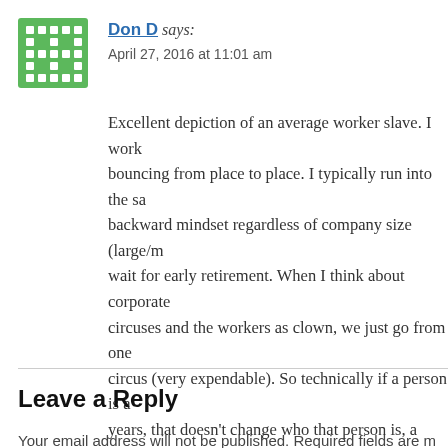[Figure (other): Green avatar/gravatar icon with white dot pattern]
Don D says: April 27, 2016 at 11:01 am
Excellent depiction of an average worker slave. I work bouncing from place to place. I typically run into the same backward mindset regardless of company size (large/m wait for early retirement. When I think about corporate circuses and the workers as clown, we just go from one circus (very expendable). So technically if a person is a years, that doesn't change who that person is, a clown a
Reply
Leave a Reply
Your email address will not be published. Required fields are m